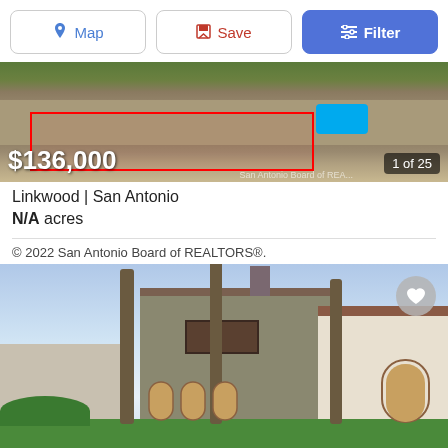[Figure (screenshot): Navigation bar with Map, Save, and Filter buttons]
[Figure (photo): Aerial view of a property lot in Linkwood, San Antonio. Red outline marks the parcel boundary. A blue car is visible. Price overlay shows $136,000. Image counter shows 1 of 25. Watermark: San Antonio Board of REALTORS.]
Linkwood | San Antonio
N/A acres
© 2022 San Antonio Board of REALTORS®.
[Figure (photo): Exterior photo of a large residential property with tall palm trees, a Mediterranean-style main house with balcony, attached white stone wing with arched windows and doors. Cloudy sky, green lawn. Heart/save icon in top-right corner.]